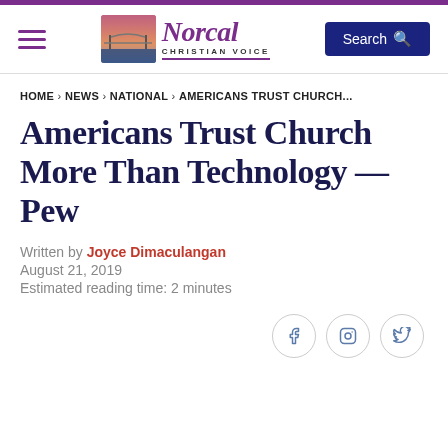Norcal Christian Voice
HOME › NEWS › NATIONAL › AMERICANS TRUST CHURCH...
Americans Trust Church More Than Technology —Pew
Written by Joyce Dimaculangan
August 21, 2019
Estimated reading time: 2 minutes